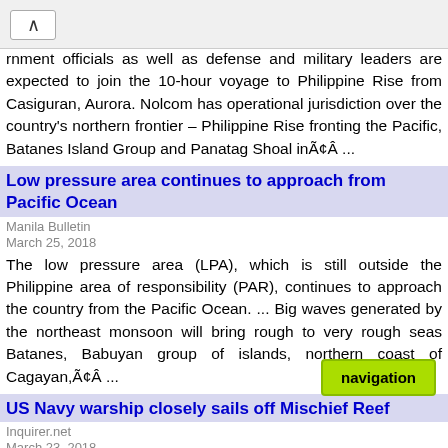rnment officials as well as defense and military leaders are expected to join the 10-hour voyage to Philippine Rise from Casiguran, Aurora. Nolcom has operational jurisdiction over the country's northern frontier – Philippine Rise fronting the Pacific, Batanes Island Group and Panatag Shoal inÃ¢Â ...
Low pressure area continues to approach from Pacific Ocean
Manila Bulletin
March 25, 2018
The low pressure area (LPA), which is still outside the Philippine area of responsibility (PAR), continues to approach the country from the Pacific Ocean. ... Big waves generated by the northeast monsoon will bring rough to very rough seas Batanes, Babuyan group of islands, northern coast of Cagayan,Ã¢Â ...
US Navy warship closely sails off Mischief Reef
Inquirer.net
March 23, 2018
The US Navy carried out a freedom of navigation operation in one of China's artificial islands in the South China Sea on Friday, news agency Reuters reported, citing US officials. The USS Mustin sail miles off Mischief Reef (Panganiban Reef) in the Spratly of islands alsoÃ¢Â ...